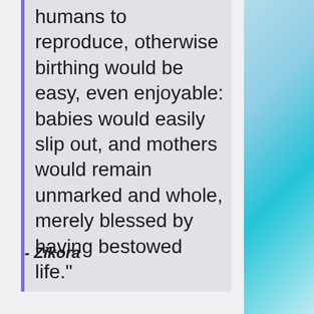humans to reproduce, otherwise birthing would be easy, even enjoyable: babies would easily slip out, and mothers would remain unmarked and whole, merely blessed by having bestowed life."
- Zikora